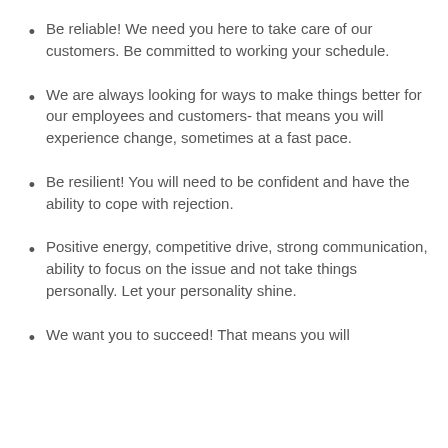Be reliable! We need you here to take care of our customers. Be committed to working your schedule.
We are always looking for ways to make things better for our employees and customers- that means you will experience change, sometimes at a fast pace.
Be resilient! You will need to be confident and have the ability to cope with rejection.
Positive energy, competitive drive, strong communication, ability to focus on the issue and not take things personally. Let your personality shine.
We want you to succeed! That means you will